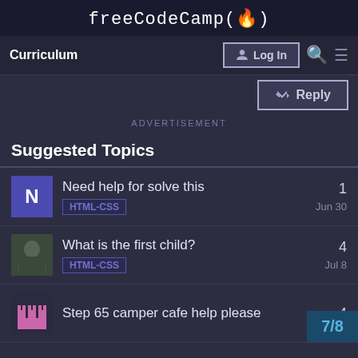freeCodeCamp(🔥)
Curriculum | Log In
Reply
ADVERTISEMENT
Suggested Topics
Need help for solve this — HTML-CSS — 1 — Jun 30
What is the first child? — HTML-CSS — 4 — Jul 8
Step 65 camper cafe help please — 4 — 7/8